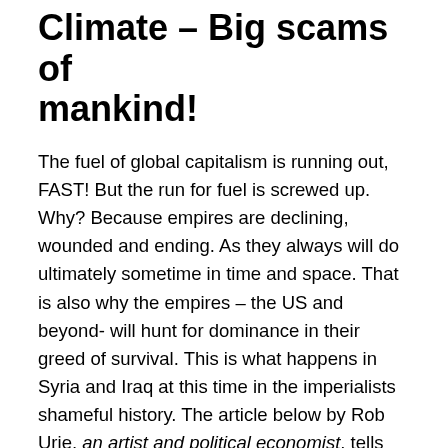Climate – Big scams of mankind!
The fuel of global capitalism is running out, FAST! But the run for fuel is screwed up. Why? Because empires are declining, wounded and ending. As they always will do ultimately sometime in time and space. That is also why the empires – the US and beyond- will hunt for dominance in their greed of survival. This is what happens in Syria and Iraq at this time in the imperialists shameful history. The article below by Rob Urie, an artist and political economist, tells the story of US wars, the imperialistic hunt for resources and the West's misuse and propaganda of Islamic threats to Western civilisation as tools for imperialism. No wonder we should never believe what we've been told on «the telly»!